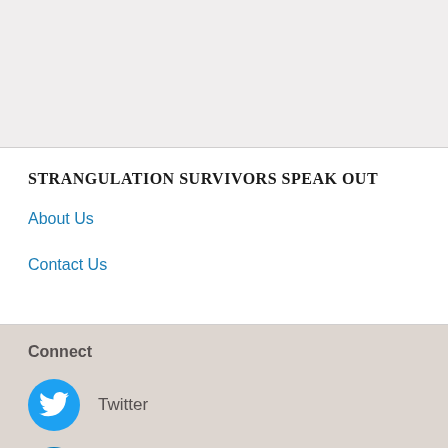STRANGULATION SURVIVORS SPEAK OUT
About Us
Contact Us
Connect
[Figure (logo): Twitter bird logo icon in blue circle]
Twitter
[Figure (logo): LinkedIn 'in' logo icon in blue circle]
LinkedIn
Contact the Oregon DOJ